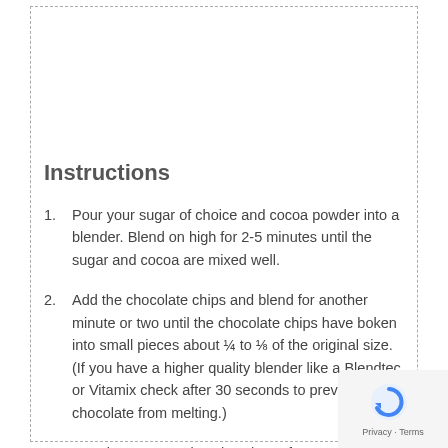Instructions
Pour your sugar of choice and cocoa powder into a blender. Blend on high for 2-5 minutes until the sugar and cocoa are mixed well.
Add the chocolate chips and blend for another minute or two until the chocolate chips have boken into small pieces about ¼ to ⅛ of the original size. (If you have a higher quality blender like a Blendtec or Vitamix check after 30 seconds to prevent your chocolate from melting.)
Pour into a quart size glass jar or four ½ pint jars to give as gifts.
If gifting a jar of this hot cocoa mix add a note instructing them to add two tablespoons of mix to a of hot milk of choice.